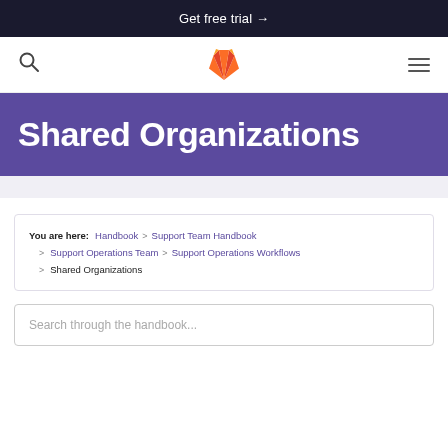Get free trial →
[Figure (logo): GitLab fox logo in orange/red, centered in navigation bar with search and menu icons]
Shared Organizations
You are here: Handbook > Support Team Handbook > Support Operations Team > Support Operations Workflows > Shared Organizations
Search through the handbook...